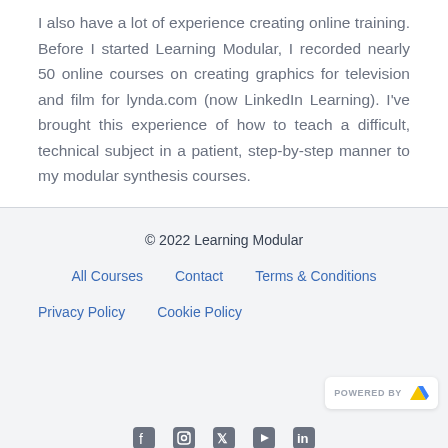I also have a lot of experience creating online training. Before I started Learning Modular, I recorded nearly 50 online courses on creating graphics for television and film for lynda.com (now LinkedIn Learning). I've brought this experience of how to teach a difficult, technical subject in a patient, step-by-step manner to my modular synthesis courses.
© 2022 Learning Modular
All Courses   Contact   Terms & Conditions
Privacy Policy   Cookie Policy
[Figure (logo): POWERED BY Z logo badge in bottom-right corner]
[Figure (illustration): Social media icons row at bottom: Facebook, Instagram, X (Twitter), YouTube, LinkedIn]